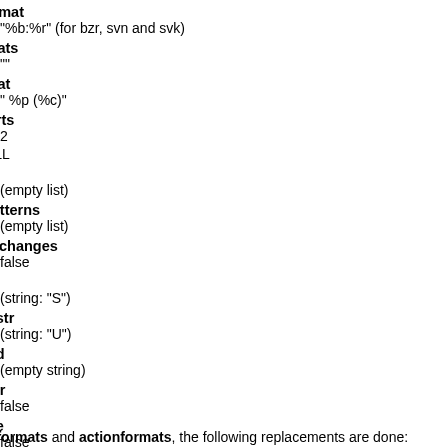hformat
"%%b:%%r" (for bzr, svn and svk)
ormats
""
ormat
" %%p (%%c)"
xports
2
e  ALL
e
(empty list)
e-patterns
(empty list)
-for-changes
false
dstr
(string: "S")
gedstr
(string: "U")
hand
(empty string)
erver
false
mple
false
vision
false
prompt-escapes
true
mal formats and actionformats, the following replacements are done: